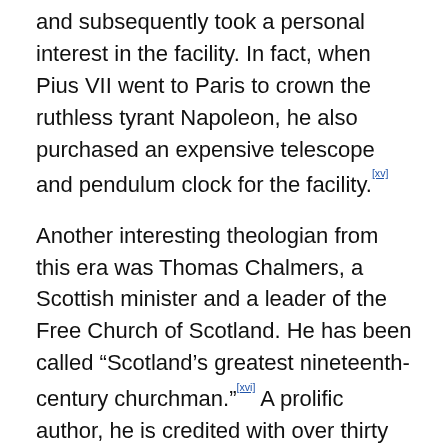and subsequently took a personal interest in the facility. In fact, when Pius VII went to Paris to crown the ruthless tyrant Napoleon, he also purchased an expensive telescope and pendulum clock for the facility.[xv]
Another interesting theologian from this era was Thomas Chalmers, a Scottish minister and a leader of the Free Church of Scotland. He has been called “Scotland’s greatest nineteenth-century churchman.”[xvi] A prolific author, he is credited with over thirty volumes; some of the most popular were a series of sermons on the relation between the discoveries of astronomy and the Christian revelation, which was published in January 1817. Chalmers debated skeptics like Thomas Paine who asserted that Christianity would be falsified by the existence of aliens from space. He adamantly believed that biblical faith could accommodate a genuine ET reality, but